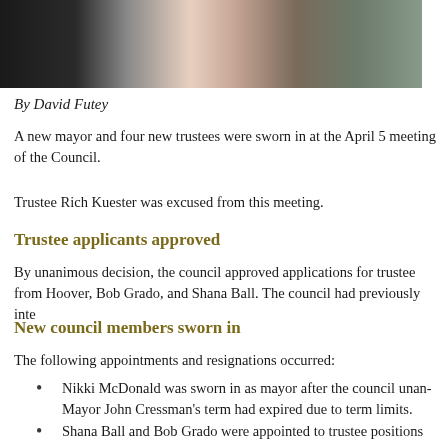[Figure (photo): Photograph of people at what appears to be a council meeting or swearing-in ceremony, showing figures in dark and light clothing against a light background.]
By David Futey
A new mayor and four new trustees were sworn in at the April 5 meeting of the Council.
Trustee Rich Kuester was excused from this meeting.
Trustee applicants approved
By unanimous decision, the council approved applications for trustee from Hoover, Bob Grado, and Shana Ball. The council had previously inte...
New council members sworn in
The following appointments and resignations occurred:
Nikki McDonald was sworn in as mayor after the council unan... Mayor John Cressman's term had expired due to term limits.
Shana Ball and Bob Grado were appointed to trustee positions...
Trustees Gary Coleman and Max Stafford resigned from the co...
Bruce Hoover and Jerry Davis were appointed to trustee positi...